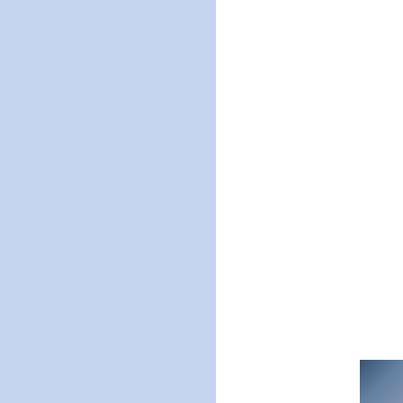[Figure (illustration): Blue panel on the left side of the page]
б/м    персп.
б/м    персп.
неяв.
СУКИ - юниоры
001    отл.
002    отл.
[Figure (photo): Small thumbnail photo in bottom right corner]